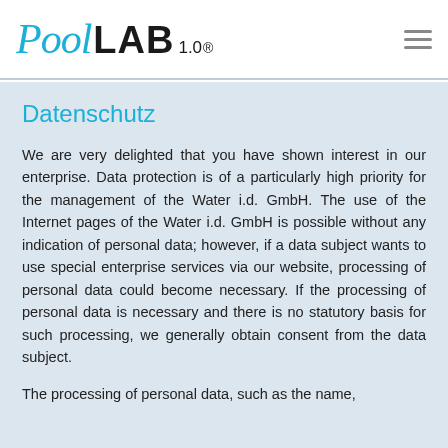Pool LAB 1.0®
Datenschutz
We are very delighted that you have shown interest in our enterprise. Data protection is of a particularly high priority for the management of the Water i.d. GmbH. The use of the Internet pages of the Water i.d. GmbH is possible without any indication of personal data; however, if a data subject wants to use special enterprise services via our website, processing of personal data could become necessary. If the processing of personal data is necessary and there is no statutory basis for such processing, we generally obtain consent from the data subject.
The processing of personal data, such as the name,